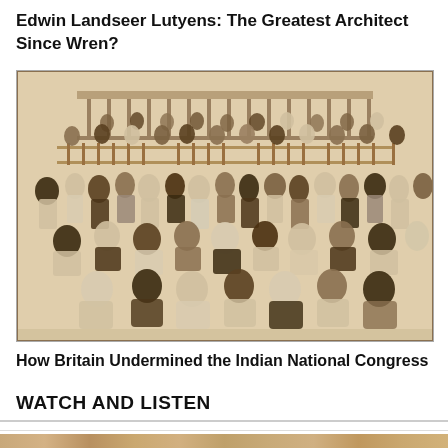Edwin Landseer Lutyens: The Greatest Architect Since Wren?
[Figure (photo): Sepia-toned historical photograph showing a large group of people gathered in front of a building with balconies and columns. The group includes people in traditional Indian dress and Western attire, seated and standing in multiple rows.]
How Britain Undermined the Indian National Congress
WATCH AND LISTEN